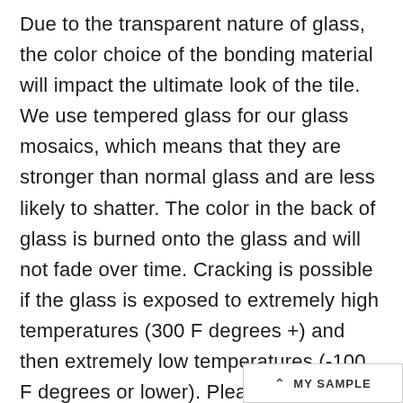Due to the transparent nature of glass, the color choice of the bonding material will impact the ultimate look of the tile. We use tempered glass for our glass mosaics, which means that they are stronger than normal glass and are less likely to shatter. The color in the back of glass is burned onto the glass and will not fade over time. Cracking is possible if the glass is exposed to extremely high temperatures (300 F degrees +) and then extremely low temperatures (-100 F degrees or lower). Please note that polished and matte finished glass are not recommend for the floor. We recommend the use of white bonding mortar. Please adhere to all bo
^ MY SAMPLE